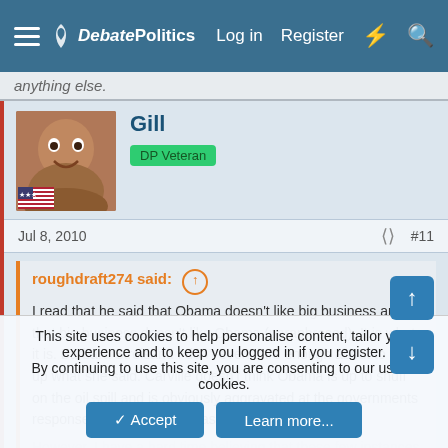DebatePolitics — Log in  Register
anything else.
Gill
DP Veteran
Jul 8, 2010
#11
roughdraft274 said:
I read that he said that Obama doesn't like big business and that big business doesn't like Obama (paraphrased). It is what it is. Barbara Streisand I don't even care enough about to look up what she said. Carville doesn't think Obama is up to snuff on the oil spill and is obviously aggravated at the governments response, and with good reason.
However, I have a hard time believing that these few instances are
Click to expand...
This site uses cookies to help personalise content, tailor your experience and to keep you logged in if you register.
By continuing to use this site, you are consenting to our use of cookies.
✓ Accept    Learn more...